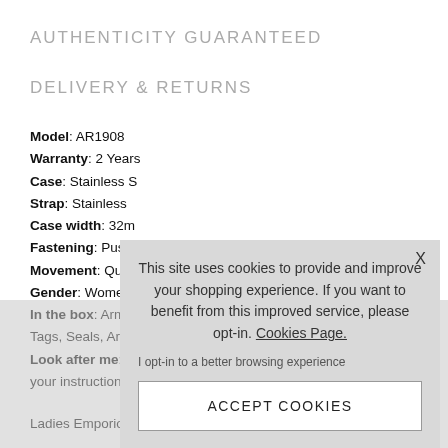AUTHENTICITY GUARANTEED
DELIVERY & RETURNS
Model: AR1908
Warranty: 2 Years
Case: Stainless S[teel]
Strap: Stainless [Steel]
Case width: 32m[m]
Fastening: Push[button]
Movement: Qua[rtz]
Gender: Women['s]
In the box: Arm[ani Watch,]
Tags, Seals, Arm[ani Box]
Look after me: [Follow]
your instruction[s]
Ladies Emporio [Armani] stainless steel a[nd crystal watch.]
It is fastened with a silver metal bracelet and has a
This site uses cookies to provide and improve your shopping experience. If you want to benefit from this improved service, please opt-in. Cookies Page.
I opt-in to a better browsing experience
ACCEPT COOKIES